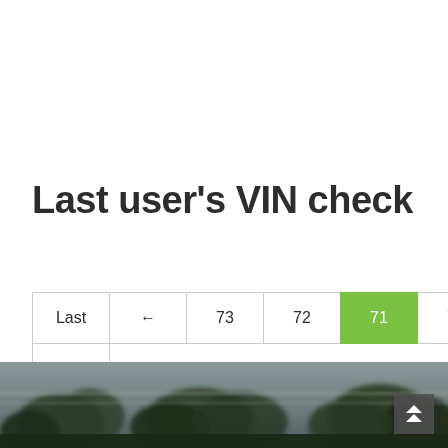Last user's VIN check
Last ← 73 72 71 70 69 → First
[Figure (photo): Blurred outdoor photo showing trees against a grey sky, motion-blurred landscape]